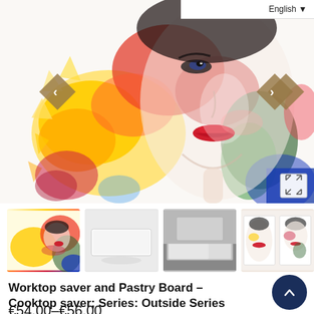[Figure (screenshot): E-commerce product page screenshot. Main image is a colorful watercolor painting of a woman's face with red lips, vibrant splashes of yellow, red, green, blue. Left and right diamond-shaped navigation arrows in tan/brown. Four product thumbnail images below. Language selector 'English' dropdown in top right. Expand/fullscreen icon at bottom right of main image.]
Worktop saver and Pastry Board – Cooktop saver; Series: Outside Series DD19 Woman 12
€54,00–€56,00